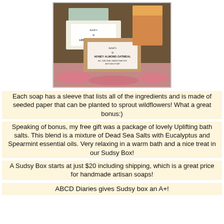[Figure (photo): Photo of Heidi's artisan soap bars including Lemon Delight Soap and Honey Almond Oatmeal soap, arranged in a gift box with pink shredded paper.]
Each soap has a sleeve that lists all of the ingredients and is made of seeded paper that can be planted to sprout wildflowers!  What a great bonus:)
Speaking of bonus, my free gift was a package of lovely Uplifting bath salts.  This blend is a mixture of Dead Sea Salts with Eucalyptus and Spearmint essential oils.  Very relaxing in a warm bath and a nice treat in our Sudsy Box!
A Sudsy Box starts at just $20 including shipping, which is a great price for handmade artisan soaps!
ABCD Diaries gives Sudsy box an A+!